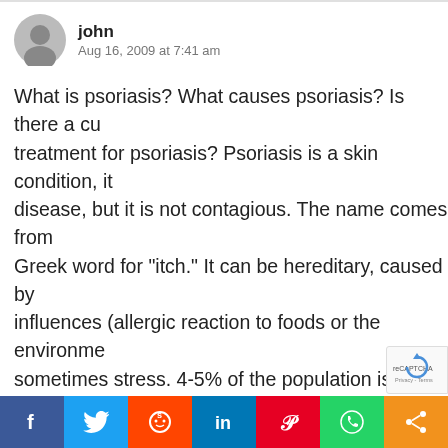john
Aug 16, 2009 at 7:41 am
What is psoriasis? What causes psoriasis? Is there a cure or treatment for psoriasis? Psoriasis is a skin condition, it is a disease, but it is not contagious. The name comes from the Greek word for "itch." It can be hereditary, caused by influences (allergic reaction to foods or the environment), or sometimes stress. 4-5% of the population is known to be affected, and this number is growing. However, it is suggested that 1 in 5 people have some form of psoriasis either dormant or none descript.
Once you have psoriasis, it is very likely you will have it for ever. It may go away, and come back. It might respond to various treatments, and it may not. Basically psoriasis
Facebook Twitter Reddit LinkedIn Pinterest WhatsApp Share